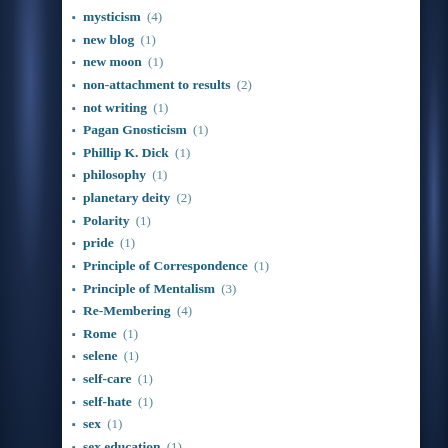mysticism (4)
new blog (1)
new moon (1)
non-attachment to results (2)
not writing (1)
Pagan Gnosticism (1)
Phillip K. Dick (1)
philosophy (1)
planetary deity (2)
Polarity (1)
pride (1)
Principle of Correspondence (1)
Principle of Mentalism (3)
Re-Membering (4)
Rome (1)
selene (1)
self-care (1)
self-hate (1)
sex (1)
sex education (1)
shadow (4)